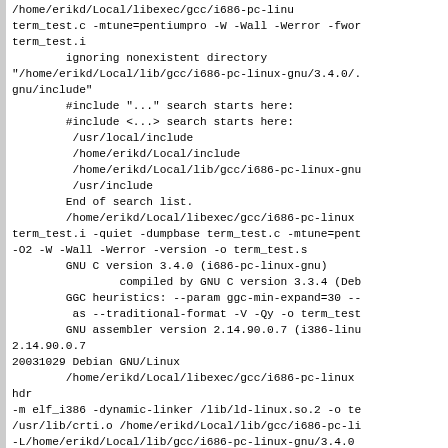/home/erikd/Local/libexec/gcc/i686-pc-linux term_test.c -mtune=pentiumpro -W -Wall -Werror -fwor term_test.i
        ignoring nonexistent directory "/home/erikd/Local/lib/gcc/i686-pc-linux-gnu/3.4.0/. gnu/include"
        #include "..." search starts here:
        #include <...> search starts here:
         /usr/local/include
         /home/erikd/Local/include
         /home/erikd/Local/lib/gcc/i686-pc-linux-gnu
         /usr/include
        End of search list.
        /home/erikd/Local/libexec/gcc/i686-pc-linux term_test.i -quiet -dumpbase term_test.c -mtune=pent -O2 -W -Wall -Werror -version -o term_test.s
        GNU C version 3.4.0 (i686-pc-linux-gnu)
                compiled by GNU C version 3.3.4 (Deb
        GGC heuristics: --param ggc-min-expand=30 --
         as --traditional-format -V -Qy -o term_test
        GNU assembler version 2.14.90.0.7 (i386-linu 2.14.90.0.7
20031029 Debian GNU/Linux
        /home/erikd/Local/libexec/gcc/i686-pc-linux hdr
-m elf_i386 -dynamic-linker /lib/ld-linux.so.2 -o te /usr/lib/crti.o /home/erikd/Local/lib/gcc/i686-pc-li -L/home/erikd/Local/lib/gcc/i686-pc-linux-gnu/3.4.0 -L/home/erikd/Local/lib/gcc/i686-pc-linux-gnu/3.4.0/ -lgcc -lgcc_eh -lc -lgcc -lgcc_eh